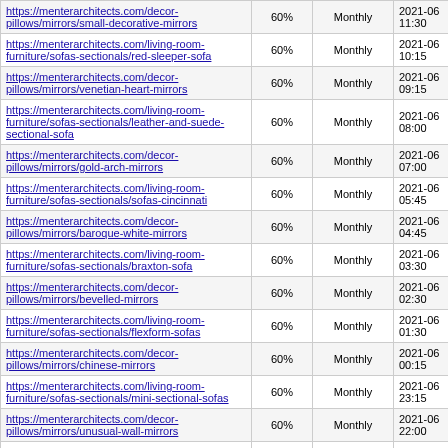| URL | Priority | Change Frequency | Last Modified |
| --- | --- | --- | --- |
| https://menterarchitects.com/decor-pillows/mirrors/small-decorative-mirrors | 60% | Monthly | 2021-06 11:30 |
| https://menterarchitects.com/living-room-furniture/sofas-sectionals/red-sleeper-sofa | 60% | Monthly | 2021-06 10:15 |
| https://menterarchitects.com/decor-pillows/mirrors/venetian-heart-mirrors | 60% | Monthly | 2021-06 09:15 |
| https://menterarchitects.com/living-room-furniture/sofas-sectionals/leather-and-suede-sectional-sofa | 60% | Monthly | 2021-06 08:00 |
| https://menterarchitects.com/decor-pillows/mirrors/gold-arch-mirrors | 60% | Monthly | 2021-06 07:00 |
| https://menterarchitects.com/living-room-furniture/sofas-sectionals/sofas-cincinnati | 60% | Monthly | 2021-06 05:45 |
| https://menterarchitects.com/decor-pillows/mirrors/baroque-white-mirrors | 60% | Monthly | 2021-06 04:45 |
| https://menterarchitects.com/living-room-furniture/sofas-sectionals/braxton-sofa | 60% | Monthly | 2021-06 03:30 |
| https://menterarchitects.com/decor-pillows/mirrors/bevelled-mirrors | 60% | Monthly | 2021-06 02:30 |
| https://menterarchitects.com/living-room-furniture/sofas-sectionals/flexform-sofas | 60% | Monthly | 2021-06 01:30 |
| https://menterarchitects.com/decor-pillows/mirrors/chinese-mirrors | 60% | Monthly | 2021-06 00:15 |
| https://menterarchitects.com/living-room-furniture/sofas-sectionals/mini-sectional-sofas | 60% | Monthly | 2021-06 23:15 |
| https://menterarchitects.com/decor-pillows/mirrors/unusual-wall-mirrors | 60% | Monthly | 2021-06 22:00 |
| https://menterarchitects.com/living-room-furniture/sofas-sectionals/faux-leather-sectional-sofas | 60% | Monthly | 2021-06 21:00 |
| https://menterarchitects.com/decor-pillows/mirrors/large-gilt-mirrors | 60% | Monthly | 2021-06 19:45 |
| https://menterarchitects.com/living-room-furniture/sofas-sectionals/... | 60% | Monthly | ... |